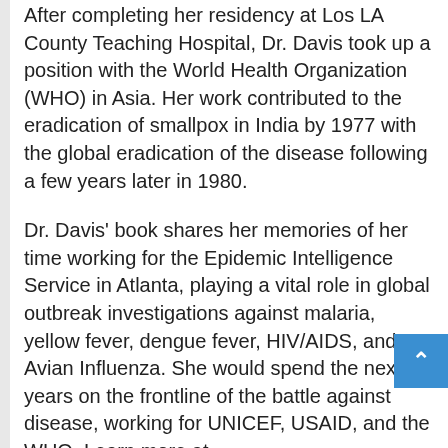After completing her residency at Los LA County Teaching Hospital, Dr. Davis took up a position with the World Health Organization (WHO) in Asia. Her work contributed to the eradication of smallpox in India by 1977 with the global eradication of the disease following a few years later in 1980.
Dr. Davis' book shares her memories of her time working for the Epidemic Intelligence Service in Atlanta, playing a vital role in global outbreak investigations against malaria, yellow fever, dengue fever, HIV/AIDS, and Avian Influenza. She would spend the next 30 years on the frontline of the battle against disease, working for UNICEF, USAID, and the WHO. Learn more at https://www.facebook.com/corneliaedavismd
The memoir also details her travels and achievements as a global adventurer including her